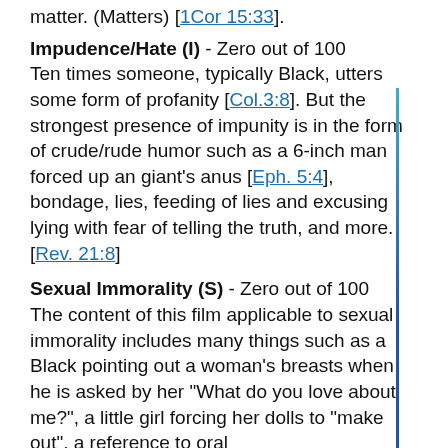matter. (Matters) [1Cor 15:33].
Impudence/Hate (I) - Zero out of 100
Ten times someone, typically Black, utters some form of profanity [Col.3:8]. But the strongest presence of impunity is in the form of crude/rude humor such as a 6-inch man forced up an giant's anus [Eph. 5:4], bondage, lies, feeding of lies and excusing lying with fear of telling the truth, and more. [Rev. 21:8]
Sexual Immorality (S) - Zero out of 100
The content of this film applicable to sexual immorality includes many things such as a Black pointing out a woman's breasts when he is asked by her "What do you love about me?", a little girl forcing her dolls to "make out", a reference to oral